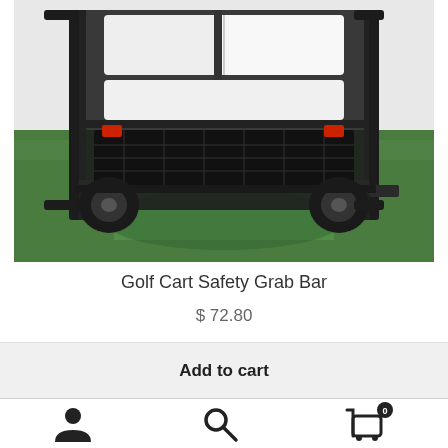[Figure (photo): Rear view of a golf cart with a black safety grab bar installed, white seats visible, parked on green grass. The cart has a metal frame structure and basket at the rear.]
Golf Cart Safety Grab Bar
$ 72.80
Add to cart